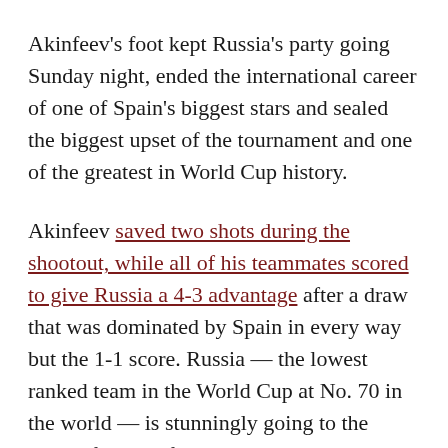Akinfeev's foot kept Russia's party going Sunday night, ended the international career of one of Spain's biggest stars and sealed the biggest upset of the tournament and one of the greatest in World Cup history.
Akinfeev saved two shots during the shootout, while all of his teammates scored to give Russia a 4-3 advantage after a draw that was dominated by Spain in every way but the 1-1 score. Russia — the lowest ranked team in the World Cup at No. 70 in the world — is stunningly going to the quarterfinals to face Croatia on Saturday.